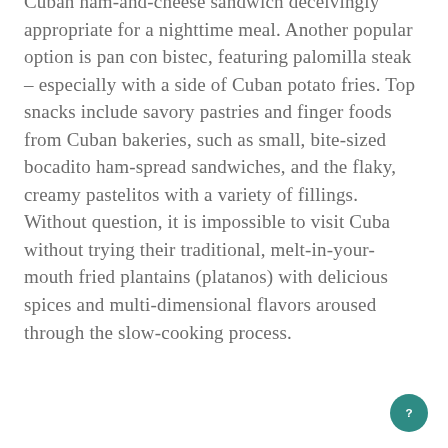Cuban ham-and-cheese sandwich deceivingly appropriate for a nighttime meal. Another popular option is pan con bistec, featuring palomilla steak – especially with a side of Cuban potato fries. Top snacks include savory pastries and finger foods from Cuban bakeries, such as small, bite-sized bocadito ham-spread sandwiches, and the flaky, creamy pastelitos with a variety of fillings. Without question, it is impossible to visit Cuba without trying their traditional, melt-in-your-mouth fried plantains (platanos) with delicious spices and multi-dimensional flavors aroused through the slow-cooking process.